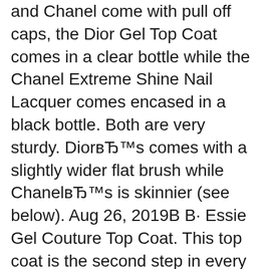and Chanel come with pull off caps, the Dior Gel Top Coat comes in a clear bottle while the Chanel Extreme Shine Nail Lacquer comes encased in a black bottle. Both are very sturdy. DiorвЂ™s comes with a slightly wider flat brush while ChanelвЂ™s is skinnier (see below). Aug 26, 2019В В· Essie Gel Couture Top Coat. This top coat is the second step in every Essie Gel Couture mani, but even if you're not using an Essie shade, it provides a gel-like sheen over your color. It's thin
Jun 01, 2017В В· Activated by natural light, the innovative, clear top coat bonds to nail colour for flexibility, strength and unprecedented wear. The